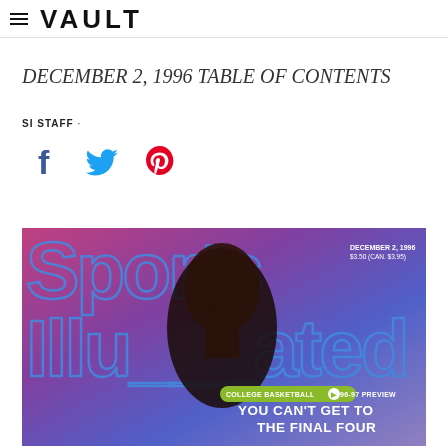VAULT
DECEMBER 2, 1996 TABLE OF CONTENTS
SI STAFF ·
[Figure (illustration): Social sharing icons: Facebook (f), Twitter (bird), Pinterest (P)]
[Figure (photo): Sports Illustrated magazine cover dated December 2, 1996, $3.50 (CAN. $3.95). Features a basketball player on a purple/pink background with large blue outlined 'Sports Illustrated' text. Badge reads 'COLLEGE BASKETBALL > 96-97 PREVIEW'. Headline reads 'YOU CAN'T GET TO THE FINAL FOUR'.]